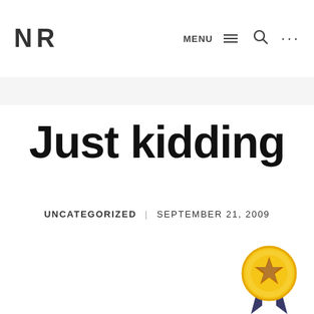NR | MENU ... (search icon) ...
Just kidding
UNCATEGORIZED   SEPTEMBER 21, 2009
[Figure (illustration): Gold award medal/badge with star in center and dark blue ribbon at bottom right corner of page]